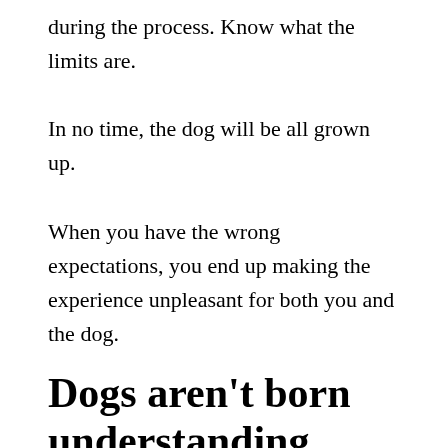during the process. Know what the limits are.

In no time, the dog will be all grown up.

When you have the wrong expectations, you end up making the experience unpleasant for both you and the dog.
Dogs aren't born understanding English
The new puppy you brought home has no idea what the word “no” means. You don’t tell him no the expect him to stop doing what